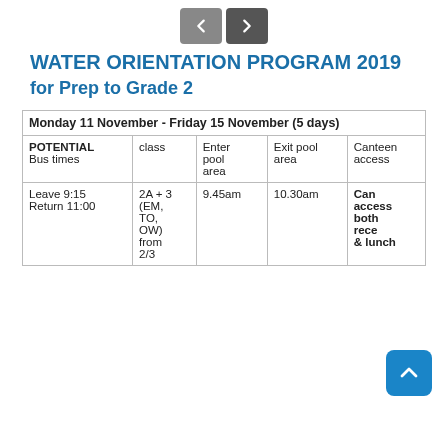WATER ORIENTATION PROGRAM 2019 for Prep to Grade 2
| Monday 11 November - Friday 15 November (5 days) |
| --- |
| POTENTIAL Bus times | class | Enter pool area | Exit pool area | Canteen access |
| Leave 9:15
Return 11:00 | 2A + 3 (EM, TO, OW) from 2/3 | 9.45am | 10.30am | Can access both recess & lunch |